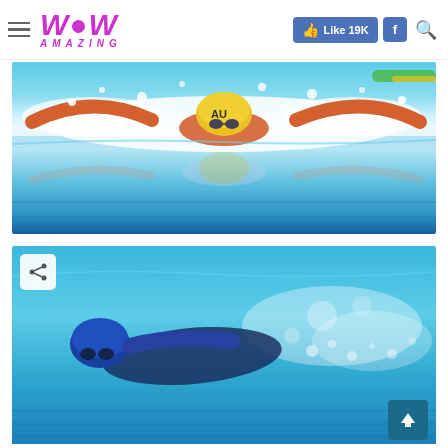WOW AMAZING — Like 19K | Facebook | Search
[Figure (photo): Overhead photo of a competitive swimmer performing butterfly stroke in a pool, wearing a yellow cap marked 'AU', with water splashing around and reflection visible below water surface.]
[Figure (photo): Underwater photo of a swimmer in a blue cap performing freestyle stroke in a bright blue pool.]